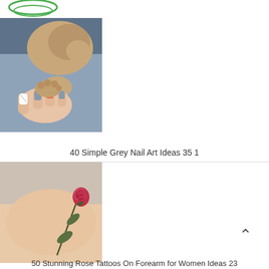[Figure (logo): Green circular logo partially visible at top left]
[Figure (photo): Close-up photo of a person holding a kitten's paw, showing grey and white nail art on manicured fingers]
40 Simple Grey Nail Art Ideas 35 1
[Figure (photo): Photo of a forearm tattoo depicting a red rose with stem and leaves in fine line style]
50 Stunning Rose Tattoos On Forearm for Women Ideas 23